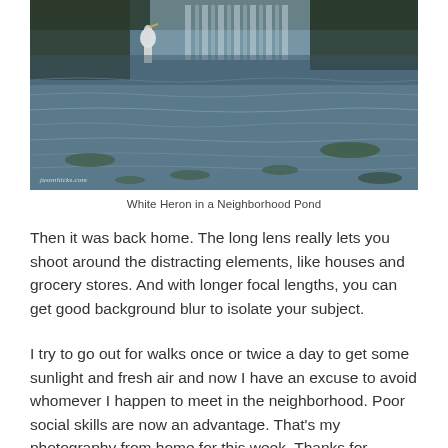[Figure (photo): A white heron standing in a neighborhood pond with water reflections, lily pads, and greenery. Watermark reads 'jasonhicks.com' in lower left corner.]
White Heron in a Neighborhood Pond
Then it was back home. The long lens really lets you shoot around the distracting elements, like houses and grocery stores. And with longer focal lengths, you can get good background blur to isolate your subject.
I try to go out for walks once or twice a day to get some sunlight and fresh air and now I have an excuse to avoid whomever I happen to meet in the neighborhood. Poor social skills are now an advantage. That's my photography from home for this week. Thanks for